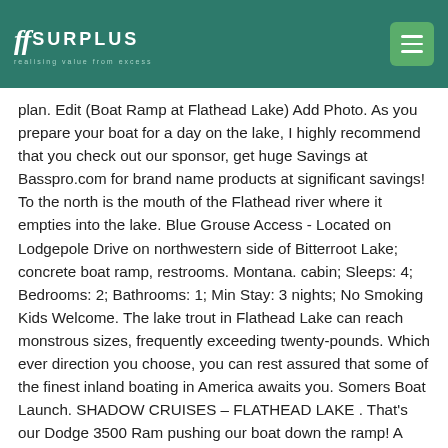SS SURPLUS — realising value from excess
plan. Edit (Boat Ramp at Flathead Lake) Add Photo. As you prepare your boat for a day on the lake, I highly recommend that you check out our sponsor, get huge Savings at Basspro.com for brand name products at significant savings! To the north is the mouth of the Flathead river where it empties into the lake. Blue Grouse Access - Located on Lodgepole Drive on northwestern side of Bitterroot Lake; concrete boat ramp, restrooms. Montana. cabin; Sleeps: 4; Bedrooms: 2; Bathrooms: 1; Min Stay: 3 nights; No Smoking Kids Welcome. The lake trout in Flathead Lake can reach monstrous sizes, frequently exceeding twenty-pounds. Which ever direction you choose, you can rest assured that some of the finest inland boating in America awaits you. Somers Boat Launch. SHADOW CRUISES – FLATHEAD LAKE . That's our Dodge 3500 Ram pushing our boat down the ramp! A beautiful place to take a break along Flathead Lake. 5.0 (10) Guest Rating: 5.00 out of possible 5 stars. SUNSET CRUISES: 1 hour 30 minutes 7pm launch; 6:30pm boarding $20 per person Wed *Kids 5 and under – $5 . County. On the lake. Recreationists must